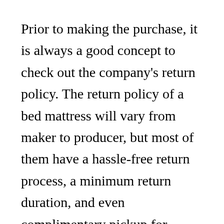Prior to making the purchase, it is always a good concept to check out the company's return policy. The return policy of a bed mattress will vary from maker to producer, but most of them have a hassle-free return process, a minimum return duration, and even complimentary pickup for qualified returns. Some business have various policies on return, and others may require a $99 fee for return shipping. The company will normally contribute the returned mattress to charity or recycle it, though.
The trial period of a bed mattress will